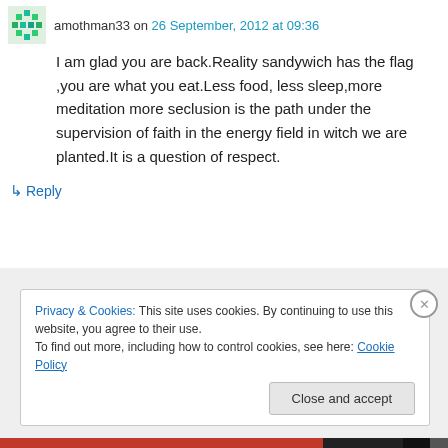amothman33 on 26 September, 2012 at 09:36
I am glad you are back.Reality sandywich has the flag ,you are what you eat.Less food, less sleep,more meditation more seclusion is the path under the supervision of faith in the energy field in witch we are planted.It is a question of respect.
↳ Reply
Privacy & Cookies: This site uses cookies. By continuing to use this website, you agree to their use.
To find out more, including how to control cookies, see here: Cookie Policy
Close and accept